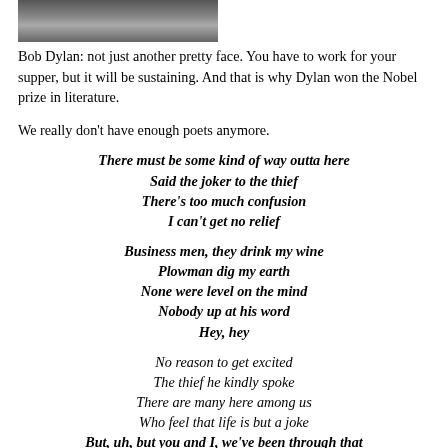[Figure (photo): Partial photo of Bob Dylan at top of page]
Bob Dylan: not just another pretty face. You have to work for your supper, but it will be sustaining. And that is why Dylan won the Nobel prize in literature.
We really don't have enough poets anymore.
There must be some kind of way outta here
Said the joker to the thief
There's too much confusion
I can't get no relief
Business men, they drink my wine
Plowman dig my earth
None were level on the mind
Nobody up at his word
Hey, hey
No reason to get excited
The thief he kindly spoke
There are many here among us
Who feel that life is but a joke
But, uh, but you and I, we've been through that
And this is not our fate
So let us stop talkin' falsely now